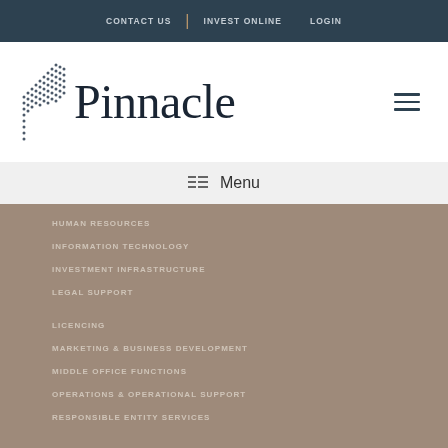CONTACT US | INVEST ONLINE | LOGIN
[Figure (logo): Pinnacle Investment Management logo with stylized dotted flag/pennant graphic and the word Pinnacle in serif font]
☰ Menu
HUMAN RESOURCES
INFORMATION TECHNOLOGY
INVESTMENT INFRASTRUCTURE
LEGAL SUPPORT
LICENCING
MARKETING & BUSINESS DEVELOPMENT
MIDDLE OFFICE FUNCTIONS
OPERATIONS & OPERATIONAL SUPPORT
RESPONSIBLE ENTITY SERVICES